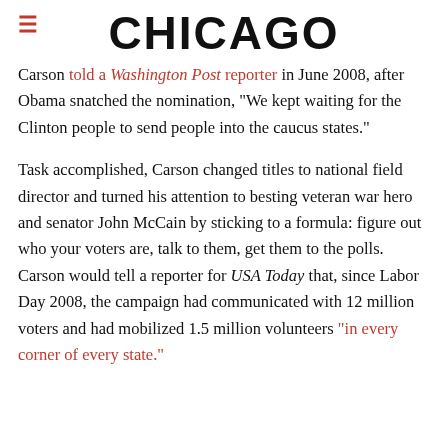CHICAGO
Carson told a Washington Post reporter in June 2008, after Obama snatched the nomination, "We kept waiting for the Clinton people to send people into the caucus states."
Task accomplished, Carson changed titles to national field director and turned his attention to besting veteran war hero and senator John McCain by sticking to a formula: figure out who your voters are, talk to them, get them to the polls. Carson would tell a reporter for USA Today that, since Labor Day 2008, the campaign had communicated with 12 million voters and had mobilized 1.5 million volunteers "in every corner of every state."